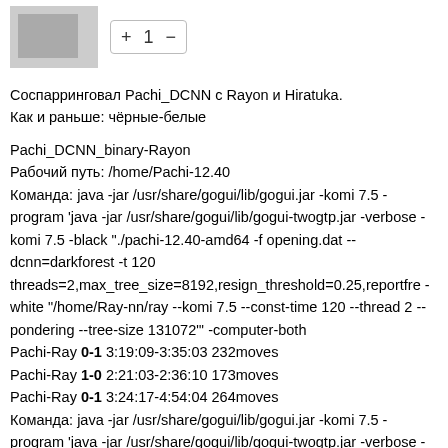[Figure (other): Gray placeholder image box with counter control showing +1-]
Соспарринговал Pachi_DCNN с Rayon и Hiratuka.
Как и раньше: чёрные-белые
Pachi_DCNN_binary-Rayon
Рабочий путь: /home/Pachi-12.40
Команда: java -jar /usr/share/gogui/lib/gogui.jar -komi 7.5 -program 'java -jar /usr/share/gogui/lib/gogui-twogtp.jar -verbose -komi 7.5 -black "./pachi-12.40-amd64 -f opening.dat --dcnn=darkforest -t 120 threads=2,max_tree_size=8192,resign_threshold=0.25,reportfre -white "/home/Ray-nn/ray --komi 7.5 --const-time 120 --thread 2 --pondering --tree-size 131072"' -computer-both
Pachi-Ray 0-1 3:19:09-3:35:03 232moves
Pachi-Ray 1-0 2:21:03-2:36:10 173moves
Pachi-Ray 0-1 3:24:17-4:54:04 264moves
Команда: java -jar /usr/share/gogui/lib/gogui.jar -komi 7.5 -program 'java -jar /usr/share/gogui/lib/gogui-twogtp.jar -verbose -komi 7.5 -white "/pachi-12.40-amd64 -f opening.dat